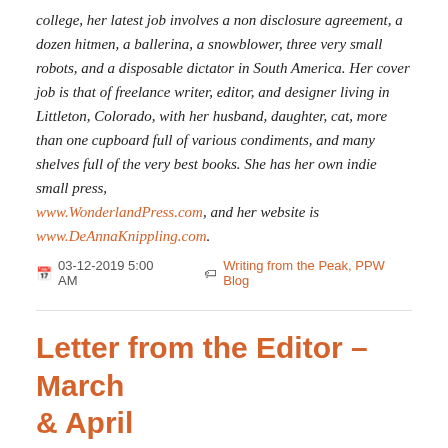college, her latest job involves a non-disclosure agreement, a dozen hitmen, a ballerina, a snowblower, three very small robots, and a disposable dictator in South America. Her cover job is that of freelance writer, editor, and designer living in Littleton, Colorado, with her husband, daughter, cat, more than one cupboard full of various condiments, and many shelves full of the very best books. She has her own indie small press, www.WonderlandPress.com, and her website is www.DeAnnaKnippling.com.
03-12-2019 5:00 AM   Writing from the Peak, PPW Blog
Letter from the Editor – March & April
Dear Readers,
My letter to you this month is coming a few days late. Sorry, but I have a really good reason. Writing from the Peak is jam packed with such an amazing batch of posts that I am